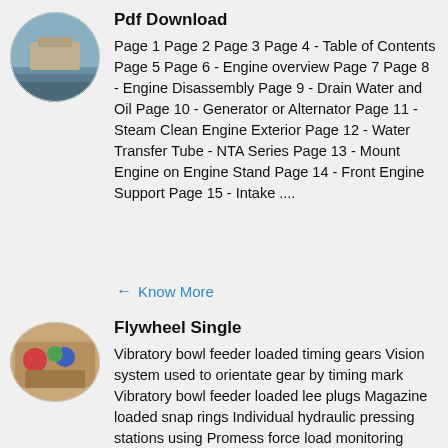[Figure (photo): Circular thumbnail photo showing a waterside/dock scene]
Pdf Download
Page 1 Page 2 Page 3 Page 4 - Table of Contents Page 5 Page 6 - Engine overview Page 7 Page 8 - Engine Disassembly Page 9 - Drain Water and Oil Page 10 - Generator or Alternator Page 11 - Steam Clean Engine Exterior Page 12 - Water Transfer Tube - NTA Series Page 13 - Mount Engine on Engine Stand Page 14 - Front Engine Support Page 15 - Intake ....
Know More
[Figure (photo): Circular thumbnail photo showing flywheel/mechanical parts]
Flywheel Single
Vibratory bowl feeder loaded timing gears Vision system used to orientate gear by timing mark Vibratory bowl feeder loaded lee plugs Magazine loaded snap rings Individual hydraulic pressing stations using Promess force load monitoring system for press verification feedback